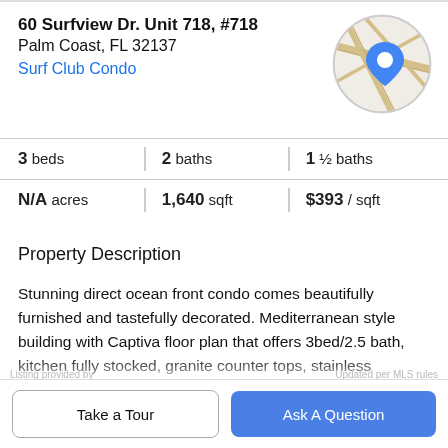60 Surfview Dr. Unit 718, #718
Palm Coast, FL 32137
Surf Club Condo
[Figure (map): Circular map thumbnail with street map and blue location pin marker]
| Category | Value |
| --- | --- |
| beds | 3 |
| baths | 2 |
| ½ baths | 1 |
| acres | N/A |
| sqft | 1,640 |
| / sqft | $393 |
Property Description
Stunning direct ocean front condo comes beautifully furnished and tastefully decorated. Mediterranean style building with Captiva floor plan that offers 3bed/2.5 bath, kitchen fully stocked, granite counter tops, stainless appliances, large living room and dining room, ceramic